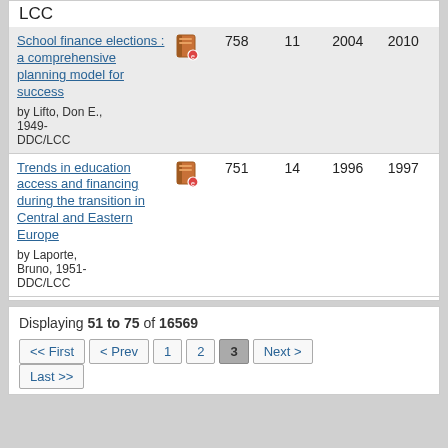LCC
| Title | Icon | 758/751 | 11/14 | 2004/1996 | 2010/1997 |
| --- | --- | --- | --- | --- | --- |
| School finance elections : a comprehensive planning model for success | by Lifto, Don E., 1949- DDC/LCC | [icon] | 758 | 11 | 2004 | 2010 |
| Trends in education access and financing during the transition in Central and Eastern Europe | by Laporte, Bruno, 1951- DDC/LCC | [icon] | 751 | 14 | 1996 | 1997 |
Displaying 51 to 75 of 16569
<< First  < Prev  1  2  3  Next >  Last >>